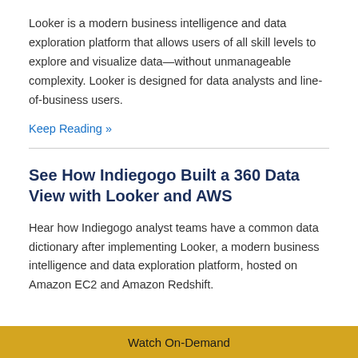Looker is a modern business intelligence and data exploration platform that allows users of all skill levels to explore and visualize data—without unmanageable complexity. Looker is designed for data analysts and line-of-business users.
Keep Reading »
See How Indiegogo Built a 360 Data View with Looker and AWS
Hear how Indiegogo analyst teams have a common data dictionary after implementing Looker, a modern business intelligence and data exploration platform, hosted on Amazon EC2 and Amazon Redshift.
Watch On-Demand